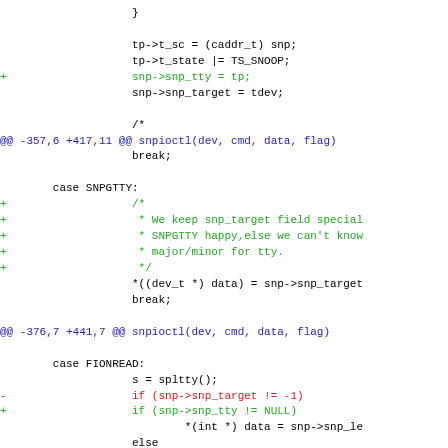Code diff showing changes to snp driver code including snpioctl and snpselect functions